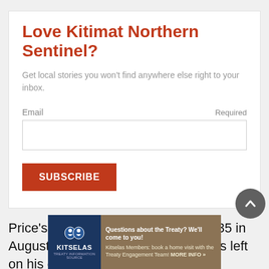Love Kitimat Northern Sentinel?
Get local stories you won't find anywhere else right to your inbox.
Email  Required
SUBSCRIBE
Price's future is uncertain. He turns 35 in August and despite having four years left on his contract at $31.25
[Figure (infographic): Advertisement banner for Kitselas Treaty Engagement: 'Questions about the Treaty? We'll come to you! Kitselas Members: book a home visit with the Treaty Engagement Team! MORE INFO »' with Kitselas logo on dark blue background.]